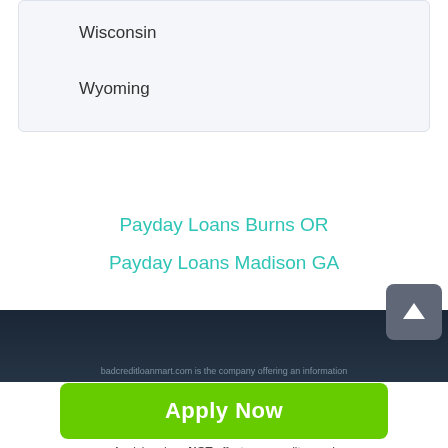Wisconsin
Wyoming
Payday Loans Burns OR
Payday Loans Madison GA
[Figure (screenshot): Dark footer bar with scroll-to-top button (up arrow in grey square) and partial footer text about badcreditloanmart.com]
badcreditloanmart.com is the company offering an information
[Figure (other): Green Apply Now button]
Applying does NOT affect your credit score! No credit check to apply.